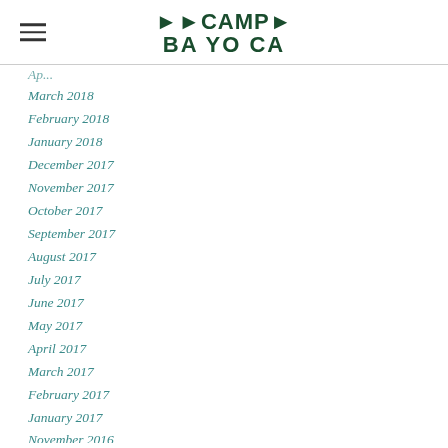[Figure (logo): Camp Ba Yo Ca logo with arrows and bold text]
March 2018
February 2018
January 2018
December 2017
November 2017
October 2017
September 2017
August 2017
July 2017
June 2017
May 2017
April 2017
March 2017
February 2017
January 2017
November 2016
August 2015